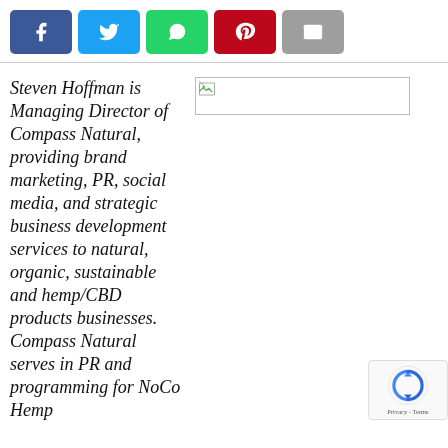[Figure (other): Social media share buttons: Facebook (blue), Twitter (cyan), WhatsApp (green), Pinterest (red), Email (grey)]
[Figure (photo): Broken/loading image placeholder in top right area]
Steven Hoffman is Managing Director of Compass Natural, providing brand marketing, PR, social media, and strategic business development services to natural, organic, sustainable and hemp/CBD products businesses. Compass Natural serves in PR and programming for NoCo Hemp
[Figure (other): reCAPTCHA widget overlay in bottom right corner with Privacy - Terms text]